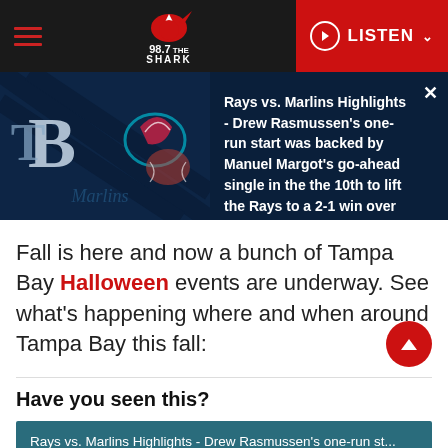98.7 The Shark | LISTEN
[Figure (screenshot): News banner showing Tampa Bay Rays vs Miami Marlins logos on dark blue background]
Rays vs. Marlins Highlights - Drew Rasmussen's one-run start was backed by Manuel Margot's go-ahead single in the the 10th to lift the Rays to a 2-1 win over the Marlins
Fall is here and now a bunch of Tampa Bay Halloween events are underway. See what's happening where and when around Tampa Bay this fall:
Have you seen this?
Rays vs. Marlins Highlights - Drew Rasmussen's one-run st...